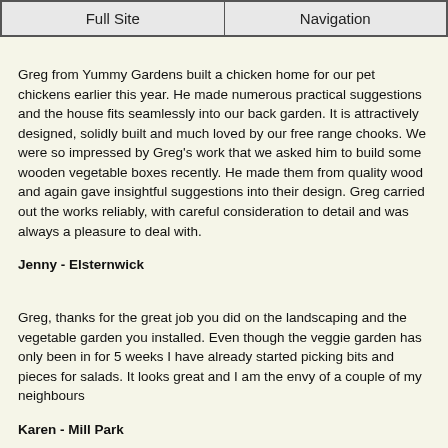Full Site | Navigation
Greg from Yummy Gardens built a chicken home for our pet chickens earlier this year. He made numerous practical suggestions and the house fits seamlessly into our back garden. It is attractively designed, solidly built and much loved by our free range chooks. We were so impressed by Greg's work that we asked him to build some wooden vegetable boxes recently. He made them from quality wood and again gave insightful suggestions into their design. Greg carried out the works reliably, with careful consideration to detail and was always a pleasure to deal with.
Jenny - Elsternwick
Greg, thanks for the great job you did on the landscaping and the vegetable garden you installed. Even though the veggie garden has only been in for 5 weeks I have already started picking bits and pieces for salads. It looks great and I am the envy of a couple of my neighbours
Karen - Mill Park
I just wanted to say how pleased I am with the herb garden you installed for me. It is great having fresh herbs right outside the back